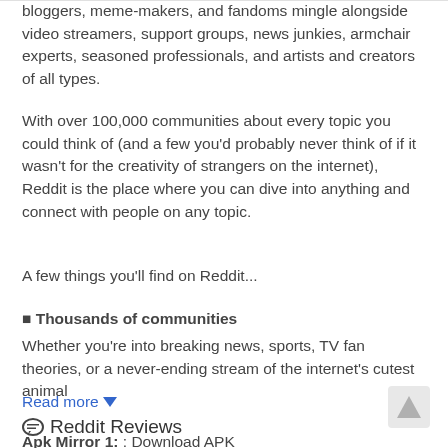bloggers, meme-makers, and fandoms mingle alongside video streamers, support groups, news junkies, armchair experts, seasoned professionals, and artists and creators of all types.
With over 100,000 communities about every topic you could think of (and a few you'd probably never think of if it wasn't for the creativity of strangers on the internet), Reddit is the place where you can dive into anything and connect with people on any topic.
A few things you'll find on Reddit...
■ Thousands of communities
Whether you're into breaking news, sports, TV fan theories, or a never-ending stream of the internet's cutest animal
Read more ▼
Apk Mirror 1: : Download APK
💬 Reddit Reviews